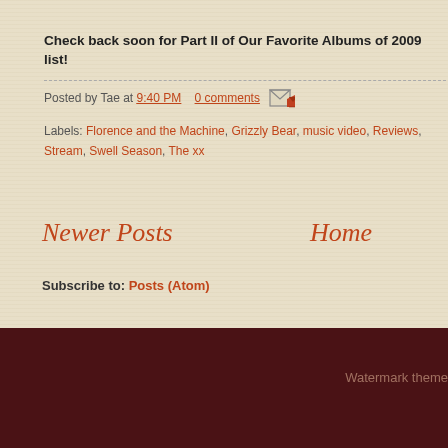Check back soon for Part II of Our Favorite Albums of 2009 list!
Posted by Tae at 9:40 PM   0 comments
Labels: Florence and the Machine, Grizzly Bear, music video, Reviews, Stream, Swell Season, The xx
Newer Posts
Home
Subscribe to: Posts (Atom)
Watermark theme